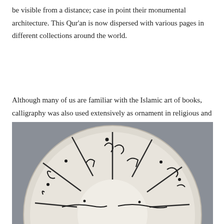be visible from a distance; case in point their monumental architecture. This Qur'an is now dispersed with various pages in different collections around the world.
Although many of us are familiar with the Islamic art of books, calligraphy was also used extensively as ornament in religious and secular contexts. It is not only used to convey messages but also beautify objects.
[Figure (photo): Photograph of a ceramic bowl with calligraphic decoration in black on white/cream glaze, shown from above. The bowl features Arabic calligraphy painted around the interior rim, with black linear script visible against the light glazed surface. The bowl is photographed against a gray background.]